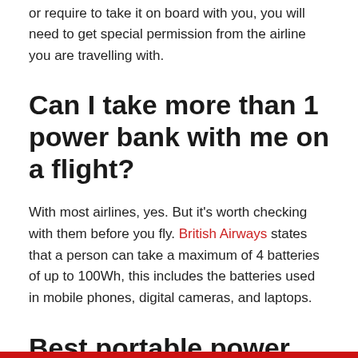or require to take it on board with you, you will need to get special permission from the airline you are travelling with.
Can I take more than 1 power bank with me on a flight?
With most airlines, yes. But it’s worth checking with them before you fly. British Airways states that a person can take a maximum of 4 batteries of up to 100Wh, this includes the batteries used in mobile phones, digital cameras, and laptops.
Best portable power bank for travel: